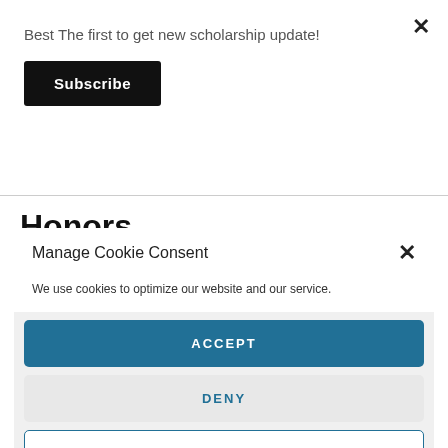Best The first to get new scholarship update!
Subscribe
Honors
Manage Cookie Consent
We use cookies to optimize our website and our service.
ACCEPT
DENY
PREFERENCES
Privacy Policy